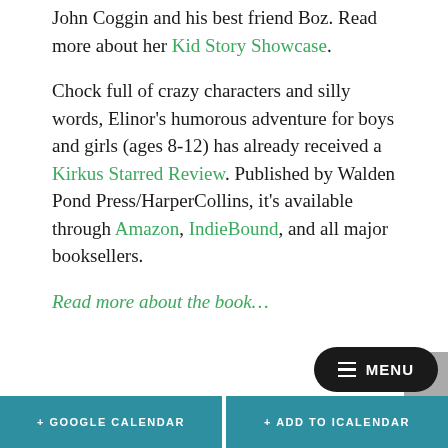to write all about what happens next to John Coggin and his best friend Boz. Read more about her Kid Story Showcase.
Chock full of crazy characters and silly words, Elinor's humorous adventure for boys and girls (ages 8-12) has already received a Kirkus Starred Review. Published by Walden Pond Press/HarperCollins, it's available through Amazon, IndieBound, and all major booksellers.
Read more about the book…